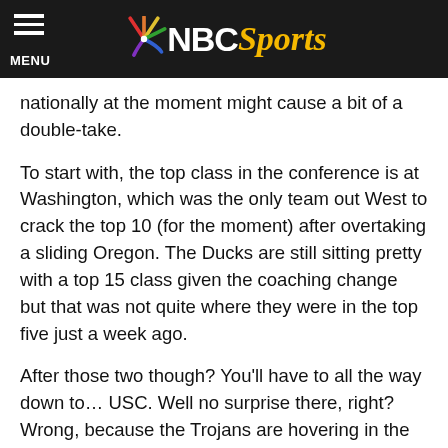NBC Sports
nationally at the moment might cause a bit of a double-take.
To start with, the top class in the conference is at Washington, which was the only team out West to crack the top 10 (for the moment) after overtaking a sliding Oregon. The Ducks are still sitting pretty with a top 15 class given the coaching change but that was not quite where they were in the top five just a week ago.
After those two though? You'll have to all the way down to… USC. Well no surprise there, right? Wrong, because the Trojans are hovering in the mid-20's and have just 11 commitments. The cardinal and gold are naturally in the mix to land several guys down the stretch but it's still strange to see the team around the N.C. State's and Michigan State's of the world as lunch comes and goes